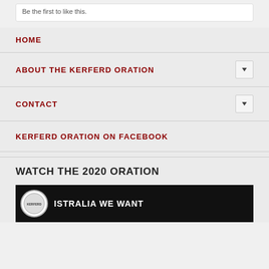Be the first to like this.
HOME
ABOUT THE KERFERD ORATION
CONTACT
KERFERD ORATION ON FACEBOOK
WATCH THE 2020 ORATION
[Figure (screenshot): Video thumbnail showing a dark background with a circular logo on the left and text reading 'ISTRALIA WE WANT' (partial)]